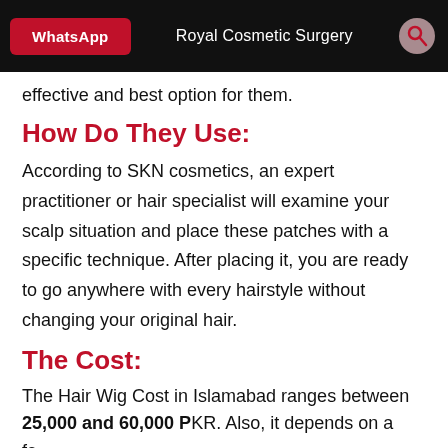WhatsApp  |  Royal Cosmetic Surgery
effective and best option for them.
How Do They Use:
According to SKN cosmetics, an expert practitioner or hair specialist will examine your scalp situation and place these patches with a specific technique. After placing it, you are ready to go anywhere with every hairstyle without changing your original hair.
The Cost:
The Hair Wig Cost in Islamabad ranges between 25,000 and 60,000 PKR. Also, it depends on a few factors that can affect the cost of hair patches, these